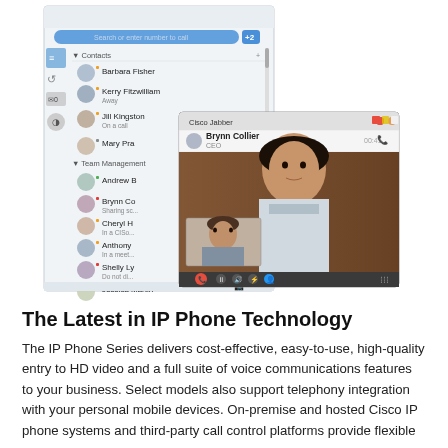[Figure (screenshot): Screenshot of Cisco Jabber application showing a contacts list with names including Barbara Fisher, Kerry Fitzwilliam, Jill Kingston, Mary Pra, Andrew B, Brynn Co, Cheryl H, Anthony, Shelly Ly, Jessica Martin. Overlaid is a video call window showing a woman (Brynn Collier) in a video call with a smaller inset video of a man, with call controls at the bottom.]
The Latest in IP Phone Technology
The IP Phone Series delivers cost-effective, easy-to-use, high-quality entry to HD video and a full suite of voice communications features to your business. Select models also support telephony integration with your personal mobile devices. On-premise and hosted Cisco IP phone systems and third-party call control platforms provide flexible